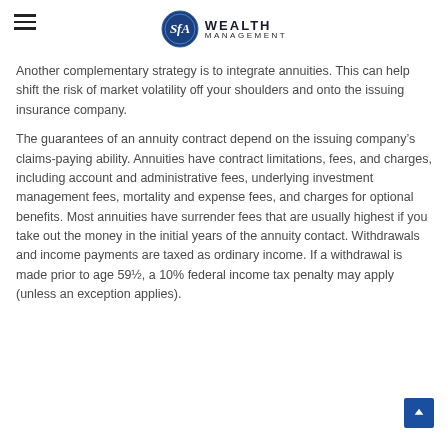SfA Wealth Management
Another complementary strategy is to integrate annuities. This can help shift the risk of market volatility off your shoulders and onto the issuing insurance company.
The guarantees of an annuity contract depend on the issuing company’s claims-paying ability. Annuities have contract limitations, fees, and charges, including account and administrative fees, underlying investment management fees, mortality and expense fees, and charges for optional benefits. Most annuities have surrender fees that are usually highest if you take out the money in the initial years of the annuity contact. Withdrawals and income payments are taxed as ordinary income. If a withdrawal is made prior to age 59½, a 10% federal income tax penalty may apply (unless an exception applies).